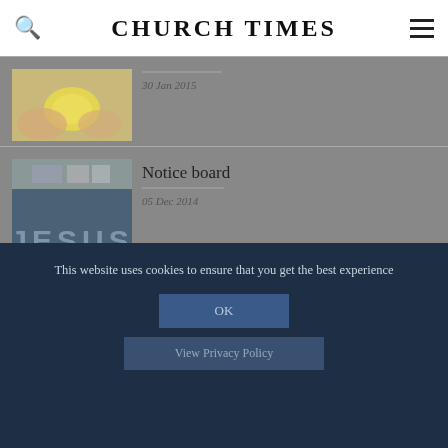CHURCH TIMES
[Figure (photo): Thumbnail of hands holding citrus fruit (lemon)]
30 Jan 2015
[Figure (photo): Thumbnail showing a blue panel with the word JESUS in large faded letters, with a strip above it]
Notice board
05 Dec 2014
This website uses cookies to ensure that you get the best experience
OK
View Privacy Policy